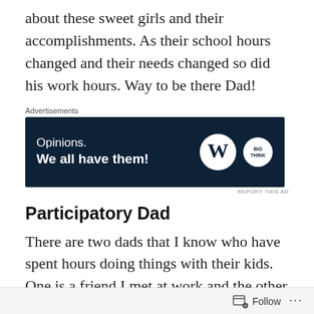about these sweet girls and their accomplishments.  As their school hours changed and their needs changed so did his work hours.  Way to be there Dad!
[Figure (other): Advertisement banner with dark navy background. Text reads 'Opinions. We all have them!' with WordPress logo (W in circle) and another circular logo on the right.]
Participatory Dad
There are two dads that I know who have spent hours doing things with their kids.  One is a friend I met at work and the other is my brother-in-law.  These men have made the time to coach sports teams, take their children adventuring and share their passions with their children.  My brother-in-law took his girls geode hunting one weekend and then they had so much fun discovering the
Follow ···